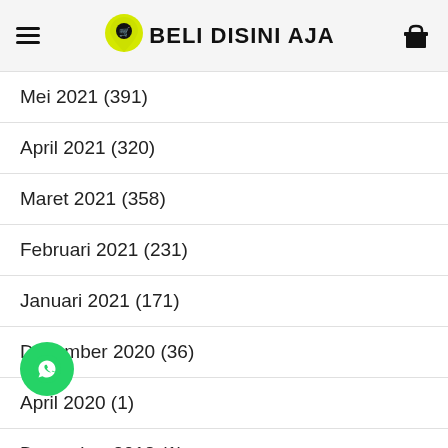BELI DISINI AJA
Mei 2021 (391)
April 2021 (320)
Maret 2021 (358)
Februari 2021 (231)
Januari 2021 (171)
Desember 2020 (36)
April 2020 (1)
Desember 2018 (1)
November 2015 (1)
Oktober 2015 (2)